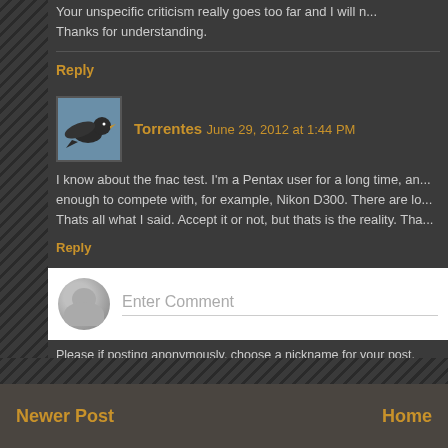Your unspecific criticism really goes too far and I will n... Thanks for understanding.
Reply
Torrentes  June 29, 2012 at 1:44 PM
I know about the fnac test. I'm a Pentax user for a long time, an... enough to compete with, for example, Nikon D300. There are lo... Thats all what I said. Accept it or not, but thats is the reality. Tha...
Reply
Enter Comment
Please if posting anonymously, choose a nickname for your post. Thanks
Newer Post
Home